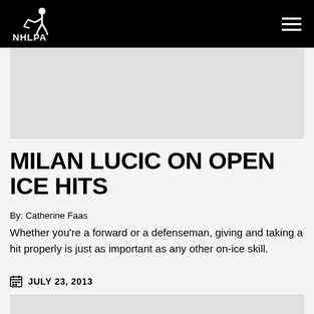NHLPA
[Figure (photo): Image placeholder area below header]
MILAN LUCIC ON OPEN ICE HITS
By: Catherine Faas
Whether you're a forward or a defenseman, giving and taking a hit properly is just as important as any other on-ice skill.
JULY 23, 2013
[Figure (photo): Bottom image placeholder]